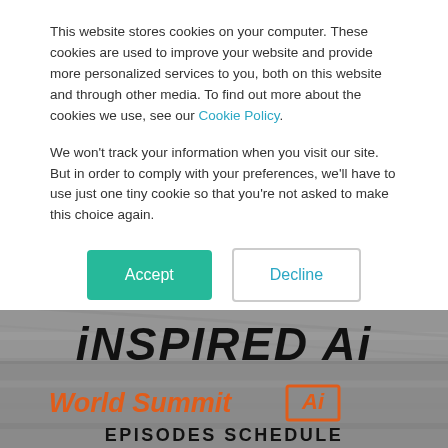This website stores cookies on your computer. These cookies are used to improve your website and provide more personalized services to you, both on this website and through other media. To find out more about the cookies we use, see our Cookie Policy.
We won't track your information when you visit our site. But in order to comply with your preferences, we'll have to use just one tiny cookie so that you're not asked to make this choice again.
Accept
Decline
[Figure (logo): iNSPIRED Ai logo in large bold italic black uppercase text on a gray background with pencil/pipe-like imagery. Below it shows 'World Summit Ai' in orange italic text with 'Ai' in an orange box, and 'EPISODES SCHEDULE' in bold black text.]